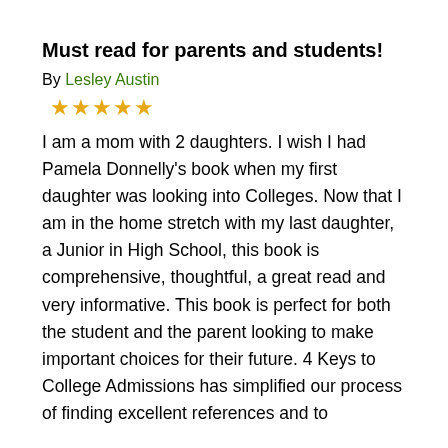Must read for parents and students!
By Lesley Austin
★★★★★
I am a mom with 2 daughters. I wish I had Pamela Donnelly's book when my first daughter was looking into Colleges. Now that I am in the home stretch with my last daughter, a Junior in High School, this book is comprehensive, thoughtful, a great read and very informative. This book is perfect for both the student and the parent looking to make important choices for their future. 4 Keys to College Admissions has simplified our process of finding excellent references and to